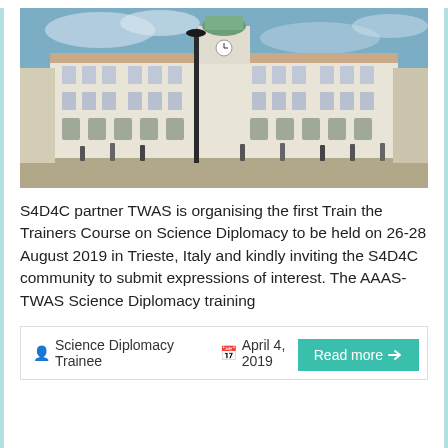[Figure (photo): Photograph of a grand white European-style building (City Hall of Trieste, Italy) with a clock tower topped with a green dome, people walking in the square in front, street lamp in foreground, blue sky with clouds.]
S4D4C partner TWAS is organising the first Train the Trainers Course on Science Diplomacy to be held on 26-28 August 2019 in Trieste, Italy and kindly inviting the S4D4C community to submit expressions of interest. The AAAS-TWAS Science Diplomacy training
Science Diplomacy Trainee   April 4, 2019   Events